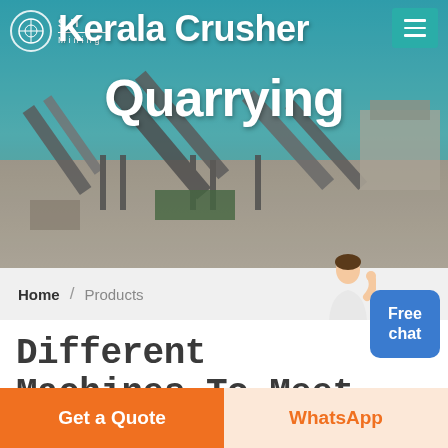[Figure (photo): Hero banner with industrial quarry/mining machinery conveyor belts against a teal sky background]
Kerala Crusher Mining Quarrying
Home / Products
Different Machines To Meet All Need
[Figure (photo): Interior of industrial building/warehouse with steel roof structure]
Get a Quote
WhatsApp